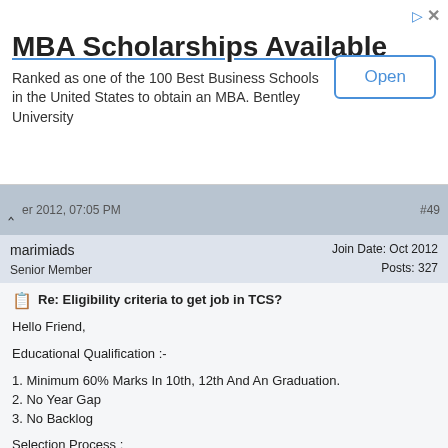[Figure (screenshot): MBA Scholarships Available ad banner with Open button]
MBA Scholarships Available
Ranked as one of the 100 Best Business Schools in the United States to obtain an MBA. Bentley University
marimiads  Senior Member  Join Date: Oct 2012  Posts: 327
Re: Eligibility criteria to get job in TCS?
Hello Friend,
Educational Qualification :-
1. Minimum 60% Marks In 10th, 12th And An Graduation.
2. No Year Gap
3. No Backlog
Selection Process :
1. Written Test
2. Group Discussion
3. Interview
-------------------------------------------------------------------------------------
Technical Knowledge As Well As Good Comminication Skill.
All The Best!!!!!